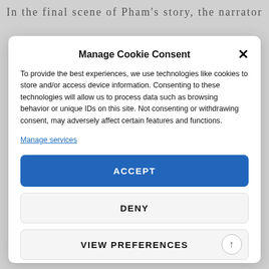In the final scene of Pham's story, the narrator
Manage Cookie Consent
To provide the best experiences, we use technologies like cookies to store and/or access device information. Consenting to these technologies will allow us to process data such as browsing behavior or unique IDs on this site. Not consenting or withdrawing consent, may adversely affect certain features and functions.
Manage services
ACCEPT
DENY
VIEW PREFERENCES
Cookie Policy